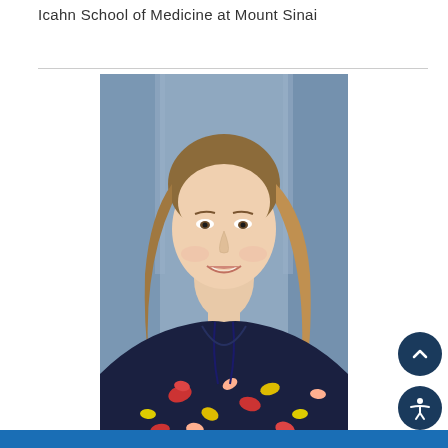Icahn School of Medicine at Mount Sinai
[Figure (photo): Professional headshot of a young woman with shoulder-length blonde-brown ombre hair, smiling, wearing a dark navy blouse with colorful floral/bird print pattern, with a lanyard/ID badge around her neck. Background is a blurred indoor hallway with blue tones.]